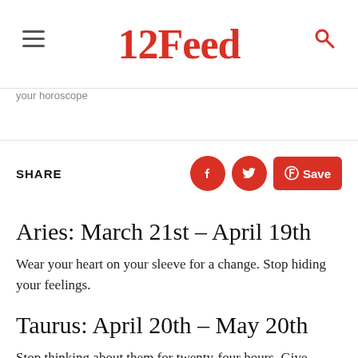12Feed
your horoscope
SHARE
Aries: March 21st – April 19th
Wear your heart on your sleeve for a change. Stop hiding your feelings.
Taurus: April 20th – May 20th
Stop thinking about them for twenty-four hours. Give